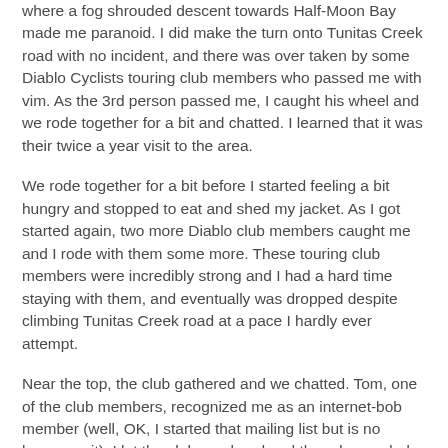where a fog shrouded descent towards Half-Moon Bay made me paranoid. I did make the turn onto Tunitas Creek road with no incident, and there was over taken by some Diablo Cyclists touring club members who passed me with vim. As the 3rd person passed me, I caught his wheel and we rode together for a bit and chatted. I learned that it was their twice a year visit to the area.
We rode together for a bit before I started feeling a bit hungry and stopped to eat and shed my jacket. As I got started again, two more Diablo club members caught me and I rode with them some more. These touring club members were incredibly strong and I had a hard time staying with them, and eventually was dropped despite climbing Tunitas Creek road at a pace I hardly ever attempt.
Near the top, the club gathered and we chatted. Tom, one of the club members, recognized me as an internet-bob member (well, OK, I started that mailing list but is no longer on it). I let the club go ahead and then descended Kings Mountain road with not a single vehicle behind me. At the bottom I made a turn onto Tripp road, visited Highway 84